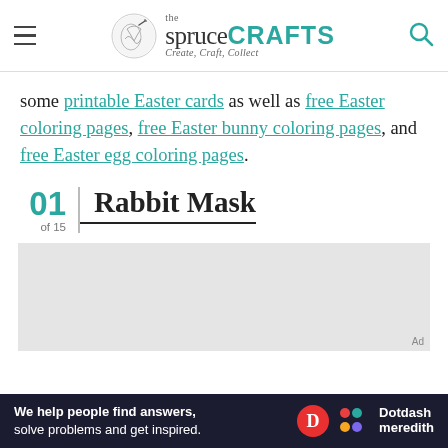the spruce CRAFTS — Create, Craft, Collect
some printable Easter cards as well as free Easter coloring pages, free Easter bunny coloring pages, and free Easter egg coloring pages.
01 of 15 — Rabbit Mask
[Figure (photo): Light gray image placeholder for Rabbit Mask content]
We help people find answers, solve problems and get inspired. — Dotdash meredith